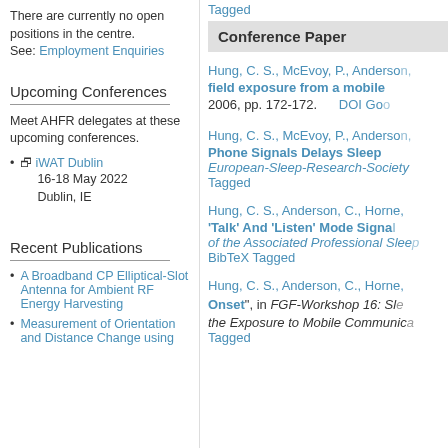There are currently no open positions in the centre. See: Employment Enquiries
Upcoming Conferences
Meet AHFR delegates at these upcoming conferences.
iWAT Dublin
16-18 May 2022
Dublin, IE
Recent Publications
A Broadband CP Elliptical-Slot Antenna for Ambient RF Energy Harvesting
Measurement of Orientation and Distance Change using
Tagged
Conference Paper
Hung, C. S., McEvoy, P., Anderson, ... field exposure from a mobile ... 2006, pp. 172-172. DOI Goo
Hung, C. S., McEvoy, P., Anderson, ... Phone Signals Delays Sleep ... European-Sleep-Research-Society ... Tagged
Hung, C. S., Anderson, C., Horne, ... 'Talk' And 'Listen' Mode Signa... of the Associated Professional Slee... BibTeX Tagged
Hung, C. S., Anderson, C., Horne, ... Onset", in FGF-Workshop 16: Sl... the Exposure to Mobile Communic... Tagged